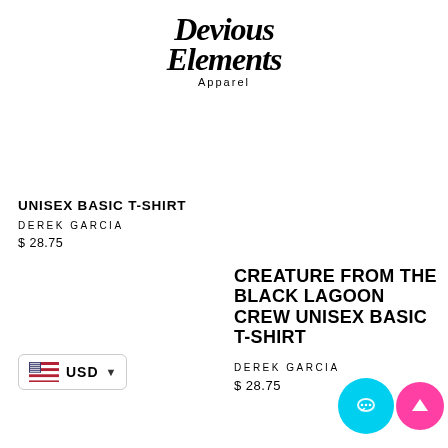[Figure (logo): Devious Elements Apparel logo in black decorative font]
UNISEX BASIC T-SHIRT
DEREK GARCIA
$ 28.75
CREATURE FROM THE BLACK LAGOON CREW UNISEX BASIC T-SHIRT
DEREK GARCIA
$ 28.75
[Figure (infographic): USD currency selector with US flag and dropdown arrow]
[Figure (infographic): Chat button (cyan circle with chat bubble icon) and scroll-to-top button (pink circle with up arrow)]